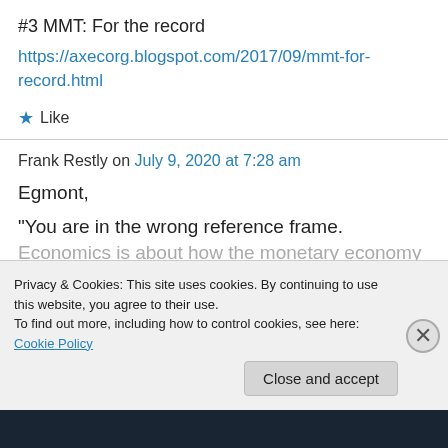#3 MMT: For the record
https://axecorg.blogspot.com/2017/09/mmt-for-record.html
★ Like
Frank Restly on July 9, 2020 at 7:28 am
Egmont,
“You are in the wrong reference frame.
Economics is about how the monetary economy...
Privacy & Cookies: This site uses cookies. By continuing to use this website, you agree to their use.
To find out more, including how to control cookies, see here: Cookie Policy
Close and accept